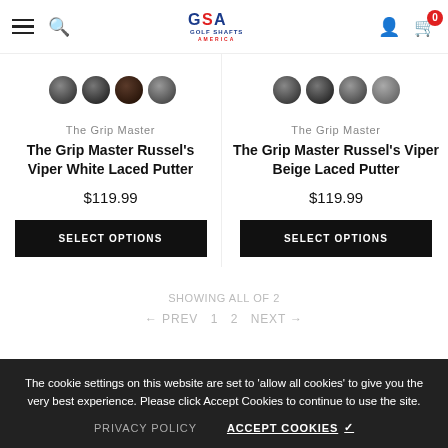GSA Golf Shafts America — navigation bar with hamburger, search, logo, user icon, cart (0)
[Figure (photo): Row of golf grip color swatches (dark circular samples) for left product]
The Grip Master
The Grip Master Russel's Viper White Laced Putter
$119.99
SELECT OPTIONS
[Figure (photo): Row of golf grip color swatches (dark circular samples) for right product]
The Grip Master
The Grip Master Russel's Viper Beige Laced Putter
$119.99
SELECT OPTIONS
SHOWING ALL OF 2
← PREV  1  2  NEXT →
The cookie settings on this website are set to 'allow all cookies' to give you the very best experience. Please click Accept Cookies to continue to use the site.
PRIVACY POLICY
ACCEPT COOKIES ✓